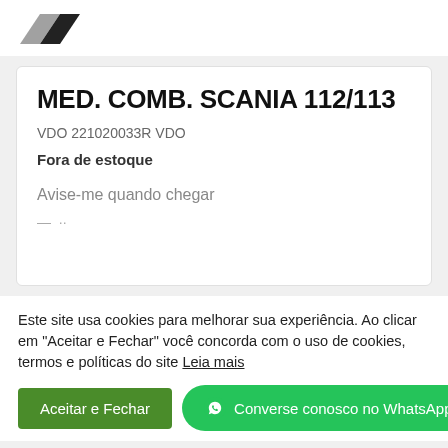[Figure (logo): Partial logo visible at top, dark shape cropped]
MED. COMB. SCANIA 112/113
VDO 221020033R VDO
Fora de estoque
Avise-me quando chegar
Este site usa cookies para melhorar sua experiência. Ao clicar em "Aceitar e Fechar" você concorda com o uso de cookies, termos e políticas do site Leia mais
Aceitar e Fechar
Converse conosco no WhatsApp